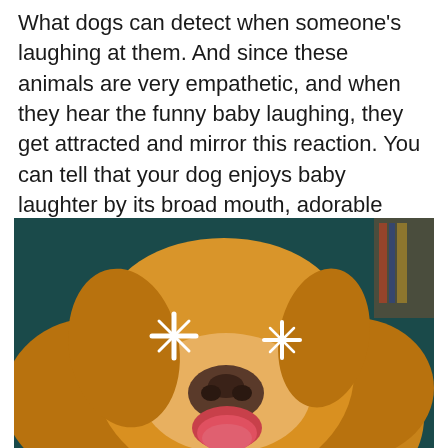What dogs can detect when someone's laughing at them. And since these animals are very empathetic, and when they hear the funny baby laughing, they get attracted and mirror this reaction. You can tell that your dog enjoys baby laughter by its broad mouth, adorable panting nose and sparkling eyes.
[Figure (photo): Close-up photo of a golden retriever dog with mouth open showing tongue, looking upward. The dog has golden fur and a dark teal/green blurred background. Two white sparkle/star emoji overlays are placed over the dog's eyes.]